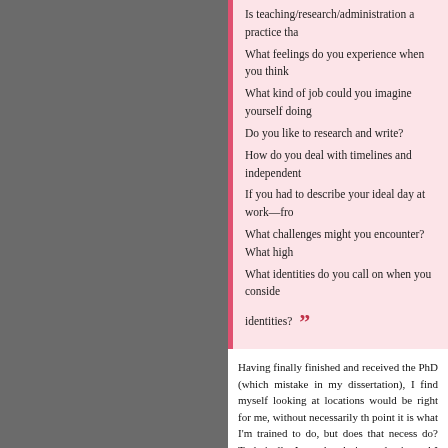Is teaching/research/administration a practice tha...
What feelings do you experience when you think...
What kind of job could you imagine yourself doing...
Do you like to research and write?
How do you deal with timelines and independent...
If you had to describe your ideal day at work—fro...
What challenges might you encounter? What high...
What identities do you call on when you consider... identities?
Having finally finished and received the PhD (which mistake in my dissertation), I find myself looking at locations would be right for me, without necessarily th point it is what I'm trained to do, but does that necess do? Technically, I am already in academia, and I don't at a point, like the MA student, where it is necessary to
Posted in Memoir, Par un professionnel, Travail, Uncate...
Tags: academics, Cajun Princess, stress
« Fall Changes (Previous Post)